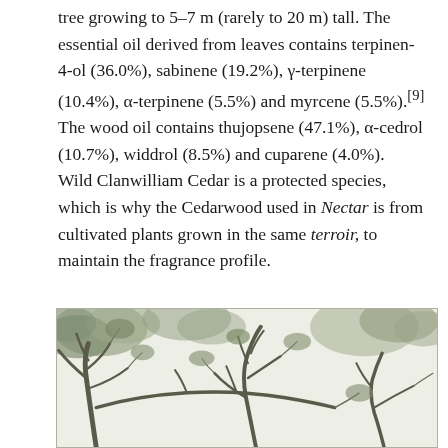tree growing to 5–7 m (rarely to 20 m) tall. The essential oil derived from leaves contains terpinen-4-ol (36.0%), sabinene (19.2%), γ-terpinene (10.4%), α-terpinene (5.5%) and myrcene (5.5%).[9] The wood oil contains thujopsene (47.1%), α-cedrol (10.7%), widdrol (8.5%) and cuparene (4.0%).  Wild Clanwilliam Cedar is a protected species, which is why the Cedarwood used in Nectar is from cultivated plants grown in the same terroir, to maintain the fragrance profile.
[Figure (illustration): Pencil or ink illustration of Clanwilliam Cedar trees with gnarled branches and foliage against a light background.]